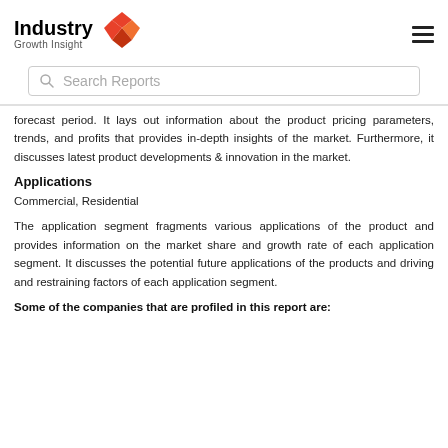[Figure (logo): Industry Growth Insight logo with orange geometric box icon and hamburger menu icon]
Search Reports
forecast period. It lays out information about the product pricing parameters, trends, and profits that provides in-depth insights of the market. Furthermore, it discusses latest product developments & innovation in the market.
Applications
Commercial, Residential
The application segment fragments various applications of the product and provides information on the market share and growth rate of each application segment. It discusses the potential future applications of the products and driving and restraining factors of each application segment.
Some of the companies that are profiled in this report are: